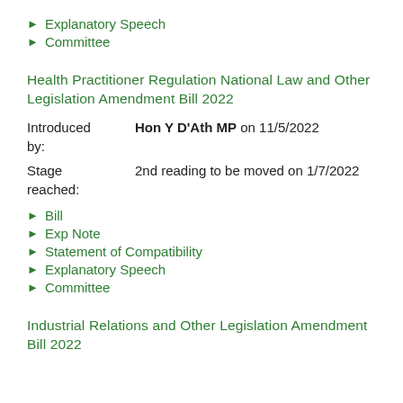Explanatory Speech
Committee
Health Practitioner Regulation National Law and Other Legislation Amendment Bill 2022
Introduced by: Hon Y D'Ath MP on 11/5/2022
Stage reached: 2nd reading to be moved on 1/7/2022
Bill
Exp Note
Statement of Compatibility
Explanatory Speech
Committee
Industrial Relations and Other Legislation Amendment Bill 2022